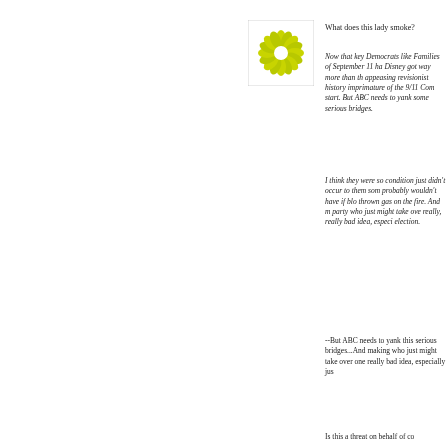[Figure (logo): Green/yellow flower-like starburst logo on white background]
What does this lady smoke?
Now that key Democrats like Families of September 11 ha Disney got way more than th appeasing revisionist history imprimature of the 9/11 Com start. But ABC needs to yank some serious bridges.
I think they were so condition just didn't occur to them som probably wouldn't have if blo thrown gas on the fire. And m party who just might take ove really, really bad idea, especi election.
--But ABC needs to yank this serious bridges...And making who just might take over one really bad idea, especially jus
Is this a threat on behalf of co